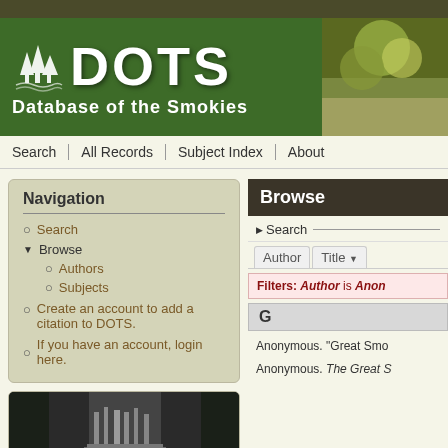[Figure (screenshot): DOTS - Database of the Smokies website banner with green background, tree icons, and 'DOTS' large text with 'Database of the Smokies' subtitle. Right side shows a nature photo.]
Search | All Records | Subject Index | About
Navigation
Search
Browse
Authors
Subjects
Create an account to add a citation to DOTS.
If you have an account, login here.
[Figure (photo): Black and white photo of a waterfall in a forest setting]
Browse
Search
Author | Title
Filters: Author is Anon
G
Anonymous. "Great Smo
Anonymous. The Great S